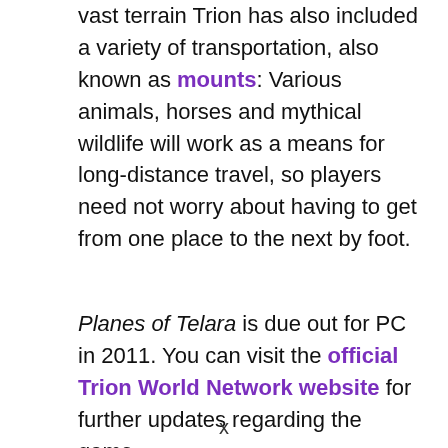vast terrain Trion has also included a variety of transportation, also known as mounts: Various animals, horses and mythical wildlife will work as a means for long-distance travel, so players need not worry about having to get from one place to the next by foot.
Planes of Telara is due out for PC in 2011. You can visit the official Trion World Network website for further updates regarding the game.